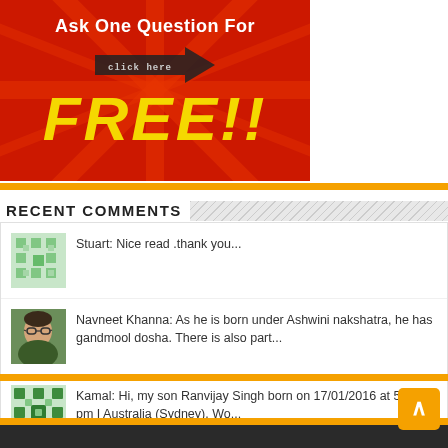[Figure (illustration): Red advertisement banner with sunburst rays, white bold text 'Ask One Question For', a dotted arrow graphic with 'click here', and large yellow bold italic text 'FREE!!']
RECENT COMMENTS
Stuart: Nice read .thank you...
Navneet Khanna: As he is born under Ashwini nakshatra, he has gandmool dosha. There is also part...
Kamal: Hi, my son Ranvijay Singh born on 17/01/2016 at 5:45 pm I Australia (Sydney). Wo...